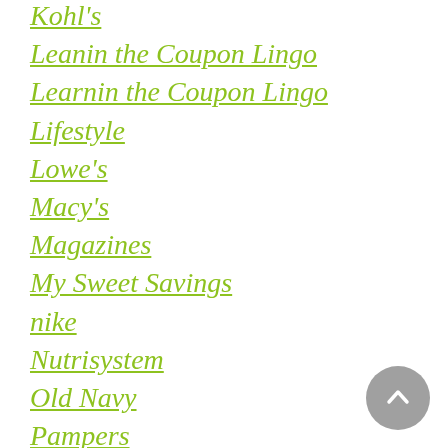Kohl's
Leanin the Coupon Lingo
Learnin the Coupon Lingo
Lifestyle
Lowe's
Macy's
Magazines
My Sweet Savings
nike
Nutrisystem
Old Navy
Pampers
Photo Deals
PJ Masks